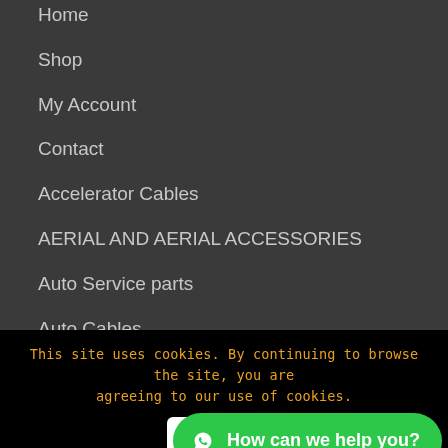Home
Shop
My Account
Contact
Accelerator Cables
AERIAL AND AERIAL ACCESSORIES
Auto Service parts
Auto Cables
Auto Styling Accessories
Auto Body Parts
This site uses cookies. By continuing to browse the site, you are agreeing to our use of cookies.
Accept
How can we help you?